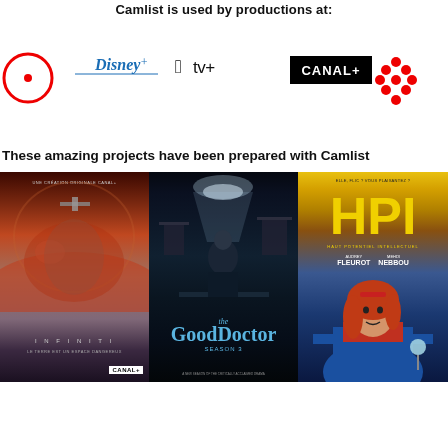Camlist is used by productions at:
[Figure (logo): Row of broadcaster/streaming logos: Mubi, Disney+, Apple TV+, CANAL+, CBC]
These amazing projects have been prepared with Camlist
[Figure (photo): Three movie/TV show posters: Infiniti (CANAL+), The Good Doctor Season 3, HPI]